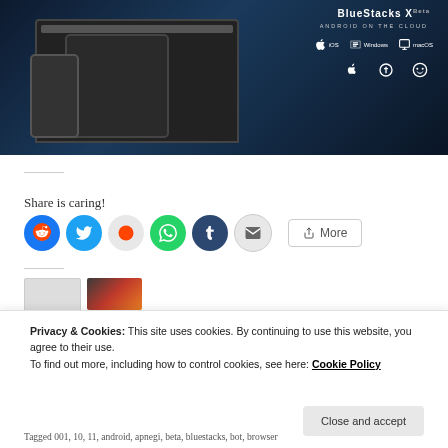[Figure (screenshot): BlueStacks X Android on the Cloud advertisement screenshot showing laptop, tablet, and phone with game content. Available on iOS, Windows, macOS, Android, Linux.]
Share is caring!
[Figure (infographic): Social sharing buttons row: Facebook, Twitter, Reddit, WhatsApp, Tumblr, Email, and More button]
Privacy & Cookies: This site uses cookies. By continuing to use this website, you agree to their use.
To find out more, including how to control cookies, see here: Cookie Policy
Close and accept
Tagged 001, 10, 11, android, apnegi, beta, bluestacks, bot, browser